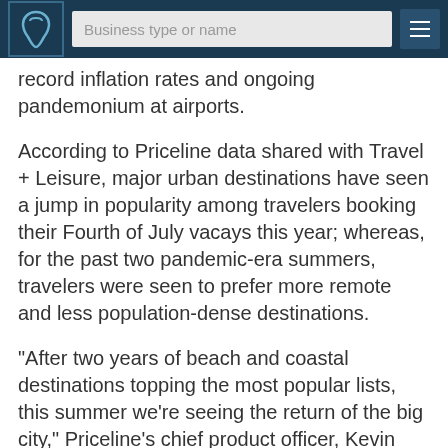Business type or name
record inflation rates and ongoing pandemonium at airports.
According to Priceline data shared with Travel + Leisure, major urban destinations have seen a jump in popularity among travelers booking their Fourth of July vacays this year; whereas, for the past two pandemic-era summers, travelers were seen to prefer more remote and less population-dense destinations.
"After two years of beach and coastal destinations topping the most popular lists, this summer we're seeing the return of the big city," Priceline's chief product officer, Kevin Heery, told the outlet. "Travelers are excited to go back to